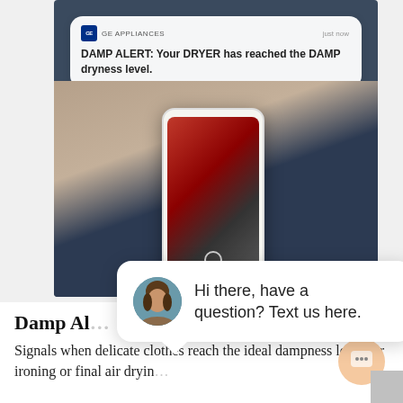[Figure (screenshot): Screenshot of a GE Appliances push notification on a smartphone showing 'DAMP ALERT: Your DRYER has reached the DAMP dryness level.' overlaid on a photo of a person holding a smartphone.]
[Figure (screenshot): Live chat widget popup with avatar of a woman and text: 'Hi there, have a question? Text us here.' with a close button labeled 'close'.]
Damp Ale...
Signals when delicate clothes reach the ideal dampness level for ironing or final air dryin...